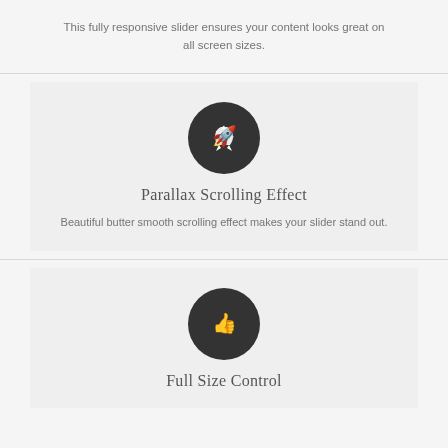This fully responsive slider ensures your content looks great on all screen sizes.
[Figure (illustration): Dark circular icon with white rocket/launch symbol]
Parallax Scrolling Effect
Beautiful butter smooth scrolling effect makes your slider stand out.
[Figure (illustration): Dark circular icon with white thumbs up symbol]
Full Size Control